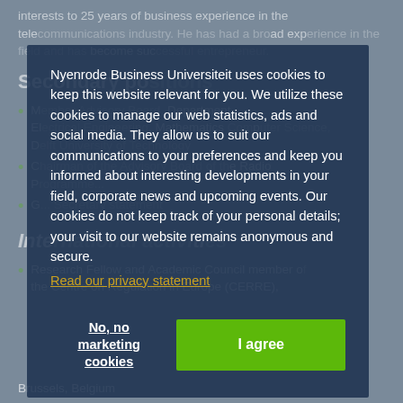interests to 25 years of business experience in the telecommunications industry. He has had a broad experience in the field and has become successful.
Secondary positions
Member of the Advisory Board, Department of Electrical Engineering, Mathematics, Computer Science, Delft University of Technology
Chairman of the Advisory Board of the Radio P... (truncated)
G... (truncated) Secretary statement
International activities
Research Fellow and Academic Council member of the Centre on Regulation in Europe (CERRE), Brussels, Belgium
Nyenrode Business Universiteit uses cookies to keep this website relevant for you. We utilize these cookies to manage our web statistics, ads and social media. They allow us to suit our communications to your preferences and keep you informed about interesting developments in your field, corporate news and upcoming events. Our cookies do not keep track of your personal details; your visit to our website remains anonymous and secure.
Read our privacy statement
No, no marketing cookies
I agree